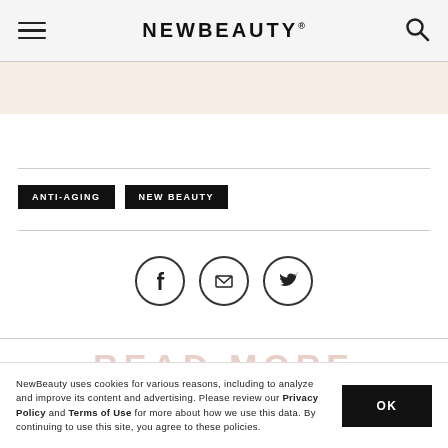NEWBEAUTY
ANTI-AGING
NEW BEAUTY
[Figure (other): Social sharing icons: Facebook, Email, Twitter in circular outlines]
READ MORE
NewBeauty uses cookies for various reasons, including to analyze and improve its content and advertising. Please review our Privacy Policy and Terms of Use for more about how we use this data. By continuing to use this site, you agree to these policies.